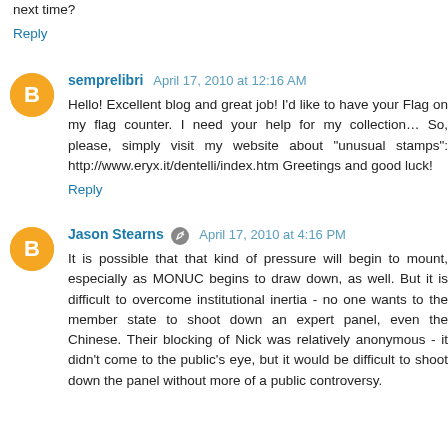next time?
Reply
semprelibri  April 17, 2010 at 12:16 AM
Hello! Excellent blog and great job! I'd like to have your Flag on my flag counter. I need your help for my collection… So, please, simply visit my website about "unusual stamps": http://www.eryx.it/dentelli/index.htm Greetings and good luck!
Reply
Jason Stearns  April 17, 2010 at 4:16 PM
It is possible that that kind of pressure will begin to mount, especially as MONUC begins to draw down, as well. But it is difficult to overcome institutional inertia - no one wants to the member state to shoot down an expert panel, even the Chinese. Their blocking of Nick was relatively anonymous - it didn't come to the public's eye, but it would be difficult to shoot down the panel without more of a public controversy.